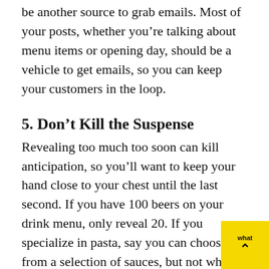be another source to grab emails. Most of your posts, whether you're talking about menu items or opening day, should be a vehicle to get emails, so you can keep your customers in the loop.
5. Don't Kill the Suspense
Revealing too much too soon can kill anticipation, so you'll want to keep your hand close to your chest until the last second. If you have 100 beers on your drink menu, only reveal 20. If you specialize in pasta, say you can choose from a selection of sauces, but not what they are.